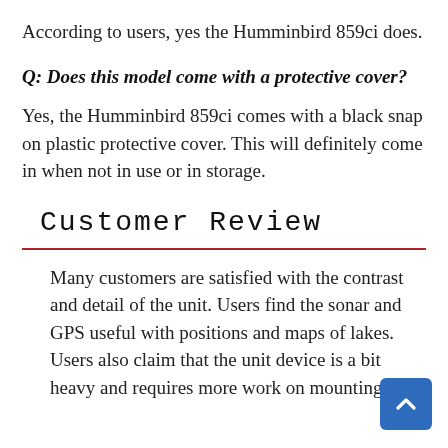According to users, yes the Humminbird 859ci does.
Q: Does this model come with a protective cover?
Yes, the Humminbird 859ci comes with a black snap on plastic protective cover. This will definitely come in when not in use or in storage.
Customer Review
Many customers are satisfied with the contrast and detail of the unit. Users find the sonar and GPS useful with positions and maps of lakes. Users also claim that the unit device is a bit heavy and requires more work on mounting it